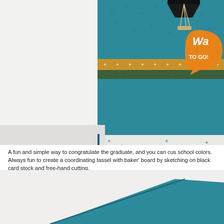[Figure (photo): Close-up photo of a handmade graduation card featuring teal cardstock with embossed stars, a gold/amber ribbon stripe, dark green patterned strip, a black mortarboard graduation cap with tassel, and an orange speech bubble tag with white handwritten text reading 'Wa... TO GO!'. A watermark reads 'Crafted by Heidi Baks runningwscissorsstamper.blogspot.com'.]
A fun and simple way to congratulate the graduate, and you can cus school colors.  Always fun to create a coordinating tassel with baker' board by sketching on black card stock and free-hand cutting.
[Figure (photo): Partial photo showing the bottom portion of a teal cardstock card with embossed star pattern, tilted at an angle against a white background.]